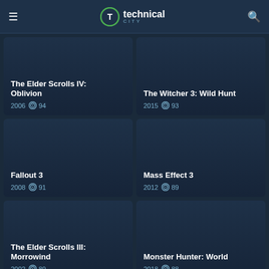technical CITY
The Elder Scrolls IV: Oblivion
2006  94
The Witcher 3: Wild Hunt
2015  93
Fallout 3
2008  91
Mass Effect 3
2012  89
The Elder Scrolls III: Morrowind
2002  89
Monster Hunter: World
2018  88